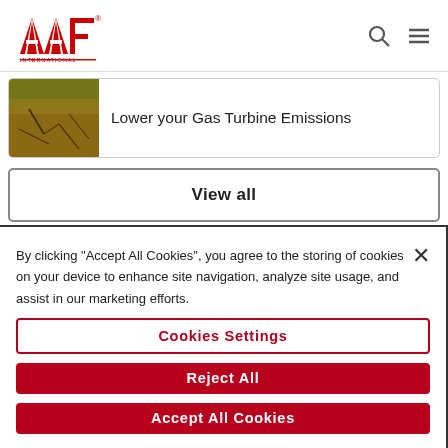[Figure (logo): AAF International red logo]
Lower your Gas Turbine Emissions
View all
By clicking "Accept All Cookies", you agree to the storing of cookies on your device to enhance site navigation, analyze site usage, and assist in our marketing efforts.
Cookies Settings
Reject All
Accept All Cookies